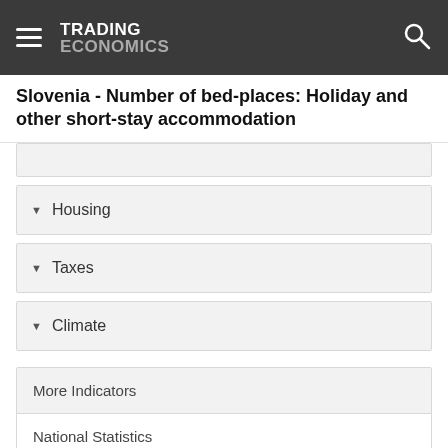TRADING ECONOMICS
Slovenia - Number of bed-places: Holiday and other short-stay accommodation
Housing
Taxes
Climate
More Indicators
National Statistics
EUROSTAT
World Bank